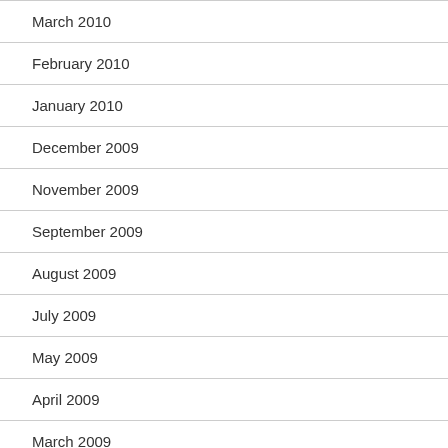March 2010
February 2010
January 2010
December 2009
November 2009
September 2009
August 2009
July 2009
May 2009
April 2009
March 2009